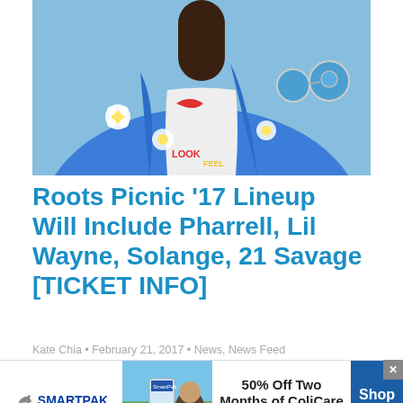[Figure (photo): Person wearing a blue floral print shirt with sunglasses, against a light blue sky background, upper body cropped]
Roots Picnic '17 Lineup Will Include Pharrell, Lil Wayne, Solange, 21 Savage [TICKET INFO]
Kate Chia • February 21, 2017 • News, News Feed
Hip-hop icons The Roots announced
[Figure (infographic): SmartPak advertisement banner: 50% Off Two Months of ColiCare, ColiCare Eligible Supplements, CODE: COLICARE10, Shop Now]